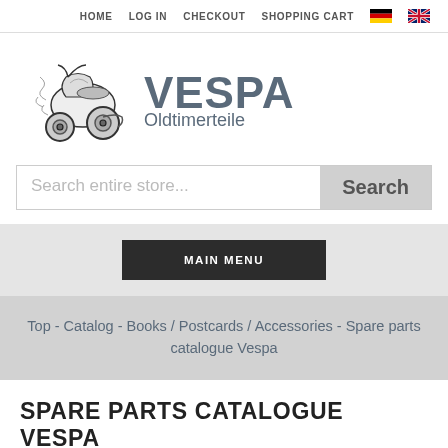HOME  LOG IN  CHECKOUT  SHOPPING CART
[Figure (logo): Vespa scooter illustration logo with VESPA Oldtimerteile text]
Search entire store...
MAIN MENU
Top - Catalog - Books / Postcards / Accessories - Spare parts catalogue Vespa
SPARE PARTS CATALOGUE VESPA
Show:  All Manufacturers